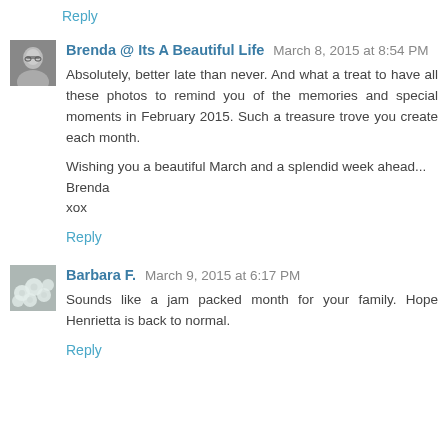Reply
[Figure (photo): Avatar photo of Brenda, a woman with glasses, grayscale]
Brenda @ Its A Beautiful Life  March 8, 2015 at 8:54 PM
Absolutely, better late than never. And what a treat to have all these photos to remind you of the memories and special moments in February 2015. Such a treasure trove you create each month.

Wishing you a beautiful March and a splendid week ahead...
Brenda
xox
Reply
[Figure (photo): Avatar photo of Barbara F., showing white flowers]
Barbara F.  March 9, 2015 at 6:17 PM
Sounds like a jam packed month for your family. Hope Henrietta is back to normal.
Reply